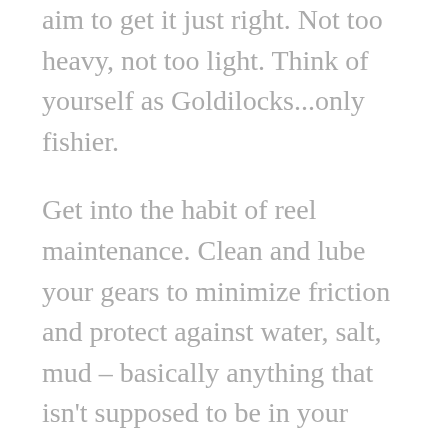Match the rod to the fishing situation and aim to get it just right. Not too heavy, not too light. Think of yourself as Goldilocks...only fishier.
Get into the habit of reel maintenance. Clean and lube your gears to minimize friction and protect against water, salt, mud – basically anything that isn't supposed to be in your gears.
That's a defence against friction. Friction in the bearings reduces your casting distance.
Clean your reel after every use, so nothing